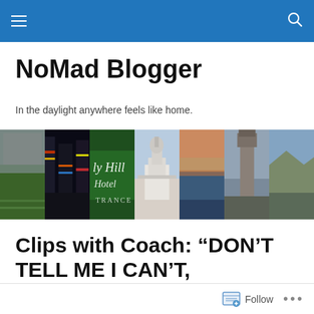NoMad Blogger — navigation bar
NoMad Blogger
In the daylight anywhere feels like home.
[Figure (photo): Horizontal strip of six travel photos: football stadium, Times Square at night, Beverly Hills Hotel sign, US Capitol building, a waterfront at sunset, Big Ben clock tower, coastal cliffs]
Clips with Coach: “DON’T TELL ME I CAN’T, BECAUSE I WILL.”
Follow